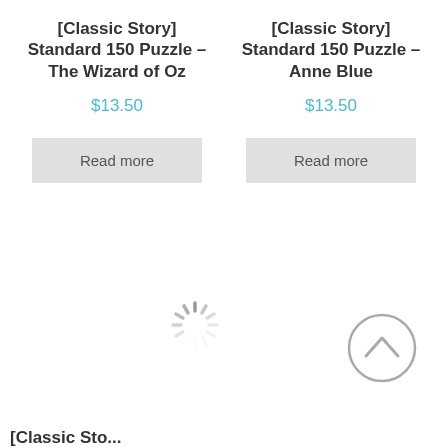[Classic Story] Standard 150 Puzzle – The Wizard of Oz
$13.50
Read more
[Classic Story] Standard 150 Puzzle – Anne Blue
$13.50
Read more
[Figure (other): Loading spinner animation icon]
[Figure (other): Scroll to top circular button with upward chevron]
[Classic Sto...